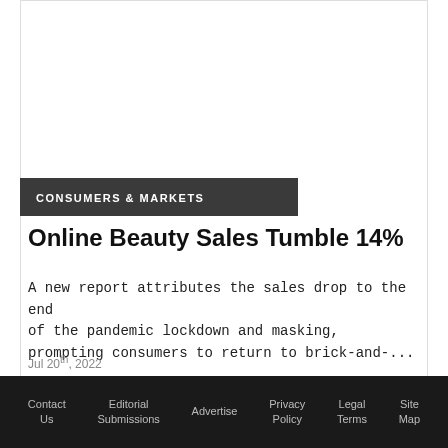CONSUMERS & MARKETS
Online Beauty Sales Tumble 14%
A new report attributes the sales drop to the end of the pandemic lockdown and masking, prompting consumers to return to brick-and-...
Jul 20th, 2022
Contact Us   Editorial Submissions   Advertise   Privacy Policy   Legal Terms   Site Map